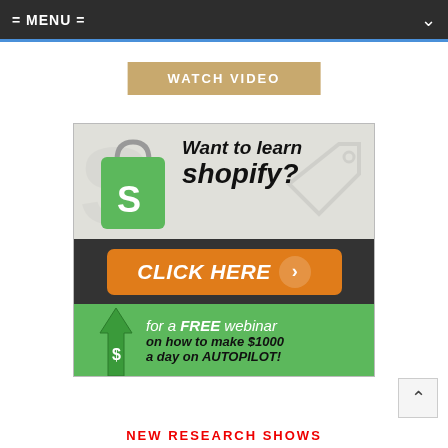= MENU =
[Figure (screenshot): WATCH VIDEO button in tan/gold color]
[Figure (infographic): Shopify advertisement banner: 'Want to learn shopify? CLICK HERE for a FREE webinar on how to make $1000 a day on AUTOPILOT!']
[Figure (screenshot): Scroll-to-top button with upward arrow]
NEW RESEARCH SHOWS